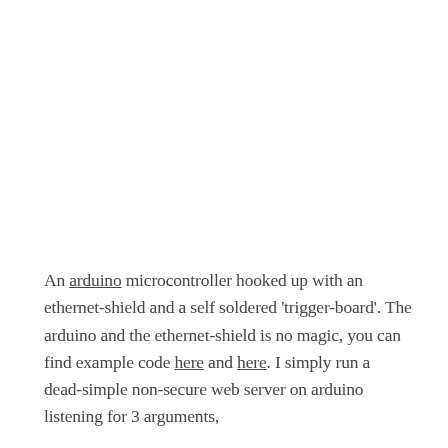An arduino microcontroller hooked up with an ethernet-shield and a self soldered 'trigger-board'. The arduino and the ethernet-shield is no magic, you can find example code here and here. I simply run a dead-simple non-secure web server on arduino listening for 3 arguments,